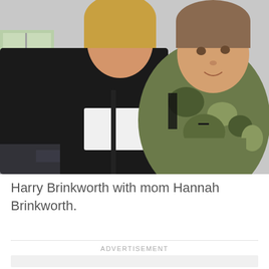[Figure (photo): A photograph of Harry Brinkworth, a young boy in a camouflage jacket with a red accessory on his wrist, being hugged from behind by his mother Hannah Brinkworth who is wearing a black and white Adidas tracksuit top. Both are facing the camera inside a room.]
Harry Brinkworth with mom Hannah Brinkworth.
ADVERTISEMENT